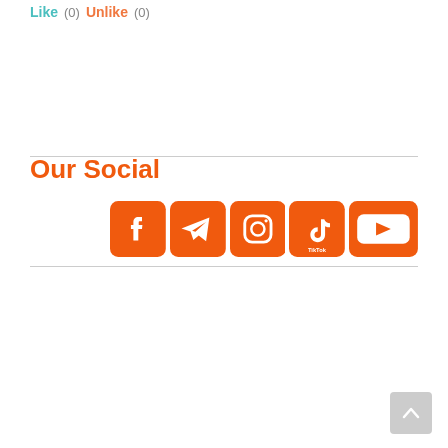Like (0)  Unlike (0)
Our Social
[Figure (infographic): Row of five orange social media icon buttons: Facebook, Telegram, Instagram, TikTok, YouTube]